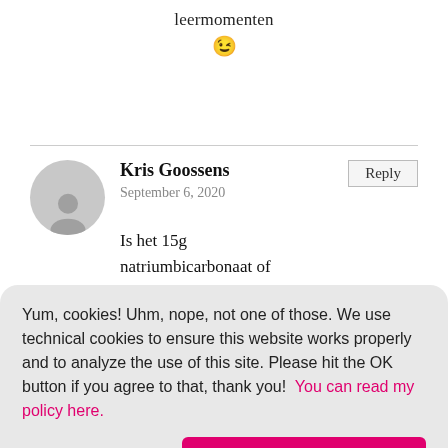leermomenten
😉
Kris Goossens
September 6, 2020
Is het 15g natriumbicarbonaat of 15g bakpoeder want bij
Yum, cookies! Uhm, nope, not one of those. We use technical cookies to ensure this website works properly and to analyze the use of this site. Please hit the OK button if you agree to that, thank you!  You can read my policy here.
Refuse Cookies
Allow Cookies
komt ook niet heel